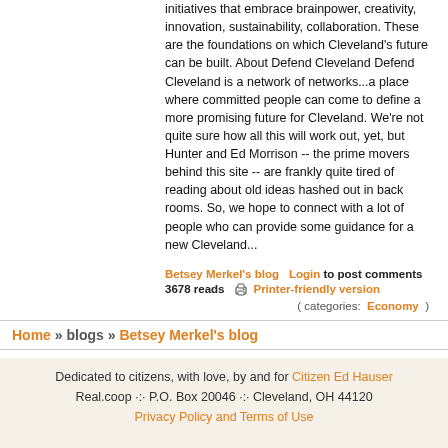initiatives that embrace brainpower, creativity, innovation, sustainability, collaboration. These are the foundations on which Cleveland's future can be built. About Defend Cleveland Defend Cleveland is a network of networks...a place where committed people can come to define a more promising future for Cleveland. We're not quite sure how all this will work out, yet, but Hunter and Ed Morrison -- the prime movers behind this site -- are frankly quite tired of reading about old ideas hashed out in back rooms. So, we hope to connect with a lot of people who can provide some guidance for a new Cleveland...
Betsey Merkel's blog   Login to post comments
3678 reads   Printer-friendly version
( categories:  Economy )
Home » blogs » Betsey Merkel's blog
Dedicated to citizens, with love, by and for Citizen Ed Hauser
Real.coop ·:· P.O. Box 20046 ·:· Cleveland, OH 44120
Privacy Policy and Terms of Use